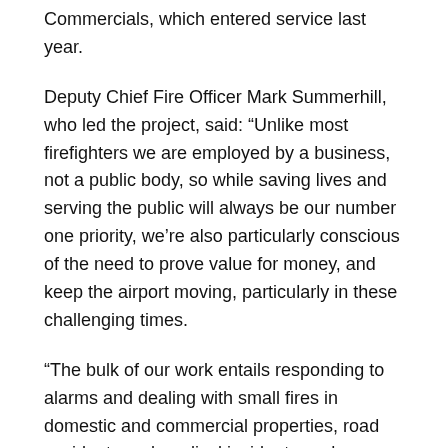Commercials, which entered service last year.
Deputy Chief Fire Officer Mark Summerhill, who led the project, said: “Unlike most firefighters we are employed by a business, not a public body, so while saving lives and serving the public will always be our number one priority, we’re also particularly conscious of the need to prove value for money, and keep the airport moving, particularly in these challenging times.
“The bulk of our work entails responding to alarms and dealing with small fires in domestic and commercial properties, road accidents and medical incidents such as cardiac arrests – we’ve all been trained to provide emergency care and can often do so before an ambulance reaches the scene.
“These fantastic vehicles allow us to be more agile and